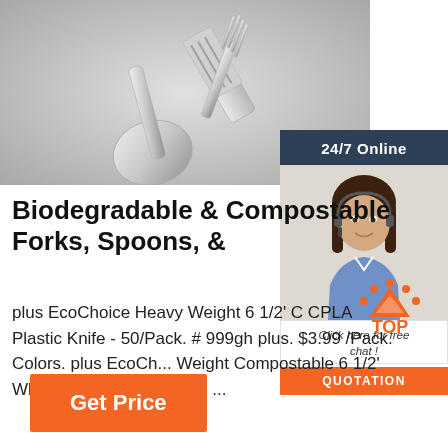[Figure (photo): Silver cutlery including spoons, fork, and spatula on a light gray background]
24/7 Online
[Figure (photo): Customer service agent woman with headset smiling, with chat and quotation UI overlay]
Biodegradable & Compostable Forks, Spoons, &
plus EcoChoice Heavy Weight 6 1/2' C CPLA Plastic Knife - 50/Pack. # 999gh plus. $3.99 /Pack. Colors. plus EcoCh... Weight Compostable 6 1/2' White CPLA Plastic Fork - ...
[Figure (logo): TOP badge with orange dotted arch above the word TOP in orange]
Get Price